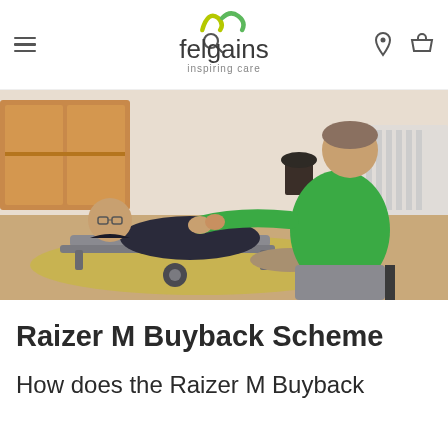felgains inspiring care — navigation header with menu, search, location, and basket icons
[Figure (photo): Elderly man lying on a floor-level mobility device/chair being assisted by a caregiver in a green shirt in a home setting with wooden furniture and flooring]
Raizer M Buyback Scheme
How does the Raizer M Buyback